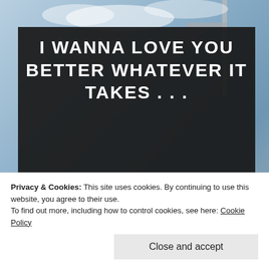[Figure (photo): Background photo of a street scene with blue sky and a lamp post, partially visible behind a dark overlay panel.]
I WANNA LOVE YOU BETTER WHATEVER IT TAKES . . .
the opinions expressed on this blog are my own and do not represent the opinions of my employer, my church, Jesus, or any "normal" human being.
Privacy & Cookies: This site uses cookies. By continuing to use this website, you agree to their use.
To find out more, including how to control cookies, see here: Cookie Policy
Close and accept